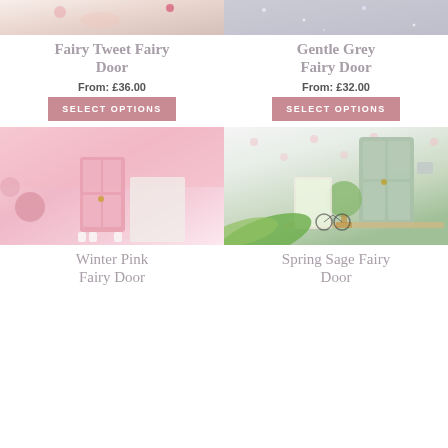[Figure (photo): Top portion of Fairy Tweet Fairy Door product photo showing decorative scene with fairy door]
Fairy Tweet Fairy Door
From: £36.00
SELECT OPTIONS
[Figure (photo): Top portion of Gentle Grey Fairy Door product photo showing grey glittery surface]
Gentle Grey Fairy Door
From: £32.00
SELECT OPTIONS
[Figure (photo): Winter Pink Fairy Door product photo showing pink miniature door with floral wreath on pink fabric background]
Winter Pink Fairy Door
[Figure (photo): Spring Sage Fairy Door product photo showing sage green miniature door with bicycle and plant accessories on polka dot wallpaper background]
Spring Sage Fairy Door